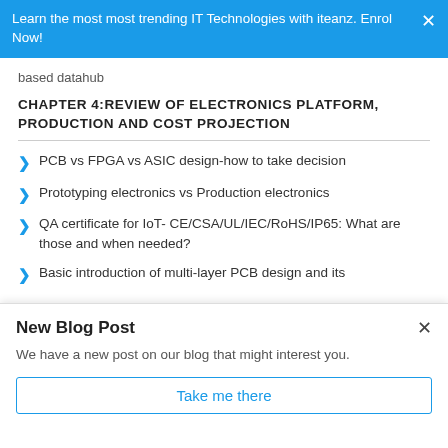Learn the most most trending IT Technologies with iteanz. Enrol Now!
based datahub
CHAPTER 4:REVIEW OF ELECTRONICS PLATFORM, PRODUCTION AND COST PROJECTION
PCB vs FPGA vs ASIC design-how to take decision
Prototyping electronics vs Production electronics
QA certificate for IoT- CE/CSA/UL/IEC/RoHS/IP65: What are those and when needed?
Basic introduction of multi-layer PCB design and its
New Blog Post
We have a new post on our blog that might interest you.
Take me there